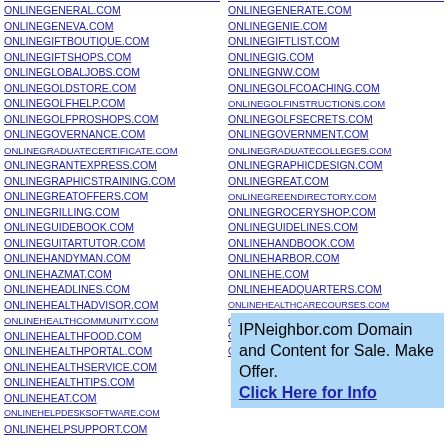ONLINEGENERAL.COM
ONLINEGENEVA.COM
ONLINEGIFTBOUTIQUE.COM
ONLINEGIFTSHOPS.COM
ONLINEGLOBALJOBS.COM
ONLINEGOLDSTORE.COM
ONLINEGOLFHELP.COM
ONLINEGOLFPROSHOPS.COM
ONLINEGOVERNANCE.COM
ONLINEGRADUATECERTIFICATE.COM
ONLINEGRANTEXPRESS.COM
ONLINEGRAPHICSTRAINING.COM
ONLINEGREATOFFERS.COM
ONLINEGRILLING.COM
ONLINEGUIDEBOOK.COM
ONLINEGUITARTUTOR.COM
ONLINEHANDYMAN.COM
ONLINEHAZMAT.COM
ONLINEHEADLINES.COM
ONLINEHEALTHADVISOR.COM
ONLINEHEALTHCOMMUNITY.COM
ONLINEHEALTHFOOD.COM
ONLINEHEALTHPORTAL.COM
ONLINEHEALTHSERVICE.COM
ONLINEHEALTHTIPS.COM
ONLINEHEAT.COM
ONLINEHELPDESKSOFTWARE.COM
ONLINEHELPSUPPORT.COM
ONLINEGENERATE.COM
ONLINEGENIE.COM
ONLINEGIFTLIST.COM
ONLINEGIG.COM
ONLINEGNW.COM
ONLINEGOLFCOACHING.COM
ONLINEGOLFINSTRUCTIONS.COM
ONLINEGOLFSECRETS.COM
ONLINEGOVERNMENT.COM
ONLINEGRADUATECOLLEGES.COM
ONLINEGRAPHICDESIGN.COM
ONLINEGREAT.COM
ONLINEGREENDIRECTORY.COM
ONLINEGROCERYSHOP.COM
ONLINEGUIDELINES.COM
ONLINEHANDBOOK.COM
ONLINEHARBOR.COM
ONLINEHE.COM
ONLINEHEADQUARTERS.COM
ONLINEHEALTHCARECOURSES.COM
ONLINEHEALTHDIRECTORY.COM
ONLINEHEALTHGUIDES.COM
ONLINEHEALTHREVIEW.COM
IPNeighbor.com Domain and Content for Sale. Make Offer. Click Here for Info